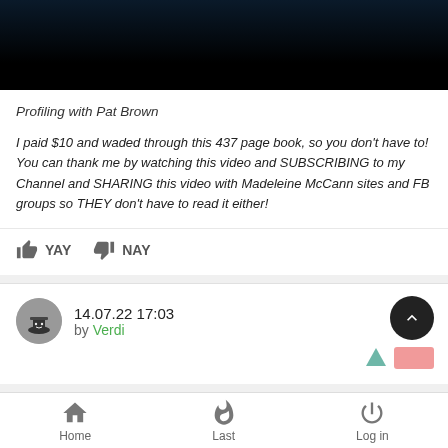[Figure (screenshot): Dark video thumbnail with blue/red gradient at top, black background below]
Profiling with Pat Brown
I paid $10 and waded through this 437 page book, so you don't have to! You can thank me by watching this video and SUBSCRIBING to my Channel and SHARING this video with Madeleine McCann sites and FB groups so THEY don't have to read it either!
YAY  NAY
14.07.22 17:03
by Verdi